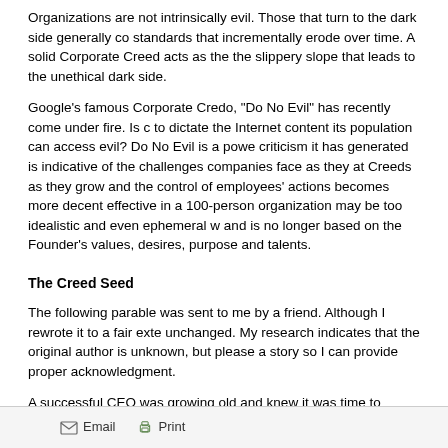Organizations are not intrinsically evil. Those that turn to the dark side generally co... standards that incrementally erode over time. A solid Corporate Creed acts as the... the slippery slope that leads to the unethical dark side.
Google's famous Corporate Credo, “Do No Evil” has recently come under fire. Is c... to dictate the Internet content its population can access evil? Do No Evil is a powe... criticism it has generated is indicative of the challenges companies face as they at... Creeds as they grow and the control of employees’ actions becomes more decent... effective in a 100-person organization may be too idealistic and even ephemeral w... and is no longer based on the Founder’s values, desires, purpose and talents.
The Creed Seed
The following parable was sent to me by a friend. Although I rewrote it to a fair ext... unchanged. My research indicates that the original author is unknown, but please a... story so I can provide proper acknowledgment.
A successful CEO was growing old and knew it was time to choose a successor to... Instead of choosing one of his senior executives or Board members, he deployed a...
He gathered his young executives and announced, “It is time for me to step down a... have decided to choose one of you.” The old man ignored their surprised response... give each one of you a seed – a very special seed. I want you to plant the seed, w... three months from today with the plant you have grown from the seed. I will then ju...
Email   Print